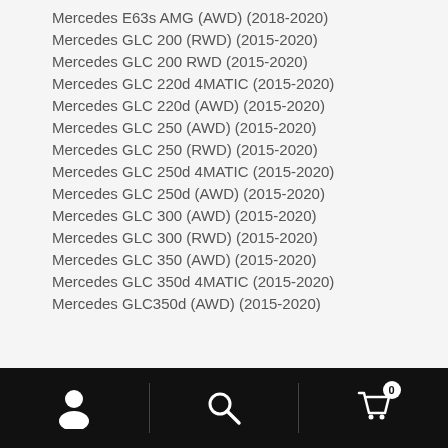Mercedes E63s AMG (AWD) (2018-2020)
Mercedes GLC 200 (RWD) (2015-2020)
Mercedes GLC 200 RWD (2015-2020)
Mercedes GLC 220d 4MATIC (2015-2020)
Mercedes GLC 220d (AWD) (2015-2020)
Mercedes GLC 250 (AWD) (2015-2020)
Mercedes GLC 250 (RWD) (2015-2020)
Mercedes GLC 250d 4MATIC (2015-2020)
Mercedes GLC 250d (AWD) (2015-2020)
Mercedes GLC 300 (AWD) (2015-2020)
Mercedes GLC 300 (RWD) (2015-2020)
Mercedes GLC 350 (AWD) (2015-2020)
Mercedes GLC 350d 4MATIC (2015-2020)
Mercedes GLC350d (AWD) (2015-2020)
Navigation bar with person, search, and cart (0) icons